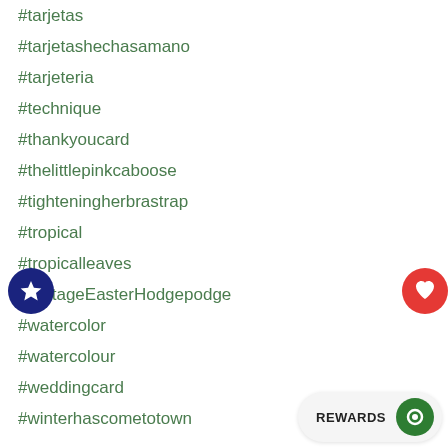#tarjetas
#tarjetashechasamano
#tarjeteria
#technique
#thankyoucard
#thelittlepinkcaboose
#tighteningherbrastrap
#tropical
#tropicalleaves
#VintageEasterHodgepodge
#watercolor
#watercolour
#weddingcard
#winterhascometotown